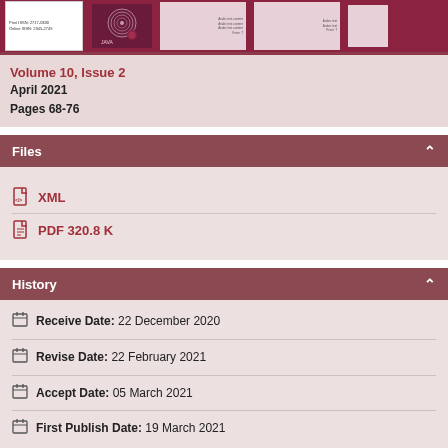[Figure (screenshot): Journal cover image strip showing journal covers and text, displayed against a dark red background]
Volume 10, Issue 2
April 2021
Pages 68-76
Files
XML
PDF 320.8 K
History
Receive Date: 22 December 2020
Revise Date: 22 February 2021
Accept Date: 05 March 2021
First Publish Date: 19 March 2021